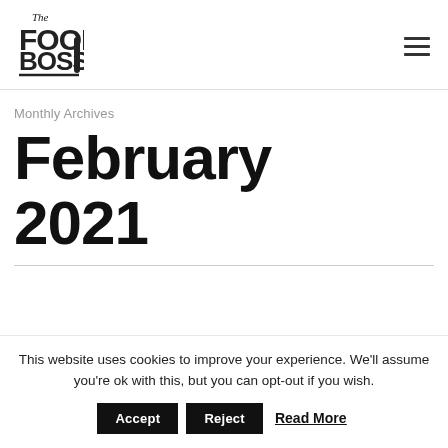The Food Boss [logo] [hamburger menu]
Monthly Archives
February 2021
This website uses cookies to improve your experience. We'll assume you're ok with this, but you can opt-out if you wish.
Accept | Reject | Read More